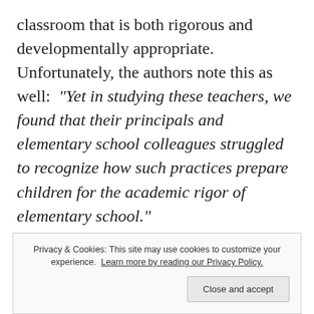classroom that is both rigorous and developmentally appropriate.  Unfortunately, the authors note this as well:  "Yet in studying these teachers, we found that their principals and elementary school colleagues struggled to recognize how such practices prepare children for the academic rigor of elementary school."
Perhaps the answer lies, once again, in ensuring that all participants in the educational community understand child development and
Privacy & Cookies: This site may use cookies to customize your experience. Learn more by reading our Privacy Policy.